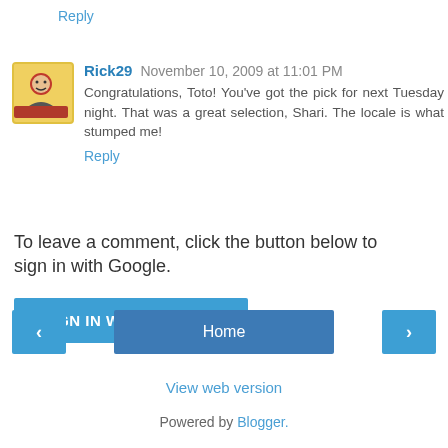Reply
Rick29  November 10, 2009 at 11:01 PM
Congratulations, Toto! You've got the pick for next Tuesday night. That was a great selection, Shari. The locale is what stumped me!
Reply
To leave a comment, click the button below to sign in with Google.
SIGN IN WITH GOOGLE
Home
View web version
Powered by Blogger.